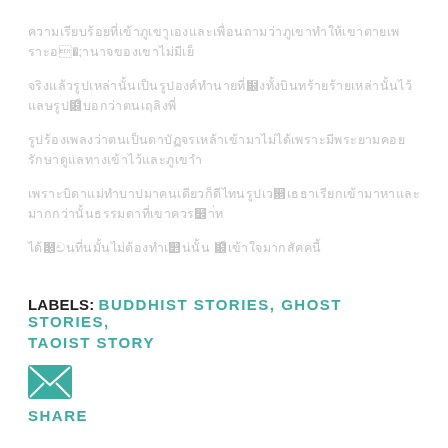[Non-Latin script text lines - 5 rows of Thai/CJK or similar script characters]
LABELS: BUDDHIST STORIES, GHOST STORIES, TAOIST STORY
[Figure (illustration): Teal/green email envelope icon]
SHARE
Comments